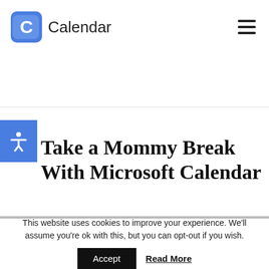Calendar
Take a Mommy Break With Microsoft Calendar
This website uses cookies to improve your experience. We'll assume you're ok with this, but you can opt-out if you wish.
Accept  Read More